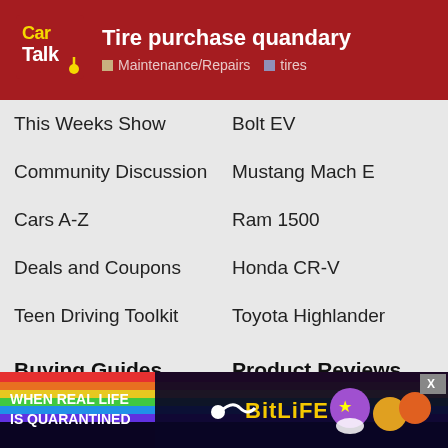Tire purchase quandary — Maintenance/Repairs · tires
This Weeks Show
Bolt EV
Community Discussion
Mustang Mach E
Cars A-Z
Ram 1500
Deals and Coupons
Honda CR-V
Teen Driving Toolkit
Toyota Highlander
Buying Guides
Product Reviews
Insurance
Endurance Warranty
Drivers Ed
Michelin Tires
Extended Warranties
AmeriFreight Shipping
Car S…
Tires
[Figure (screenshot): BitLife advertisement banner: rainbow background with text WHEN REAL LIFE IS QUARANTINED and BitLife logo with emoji characters]